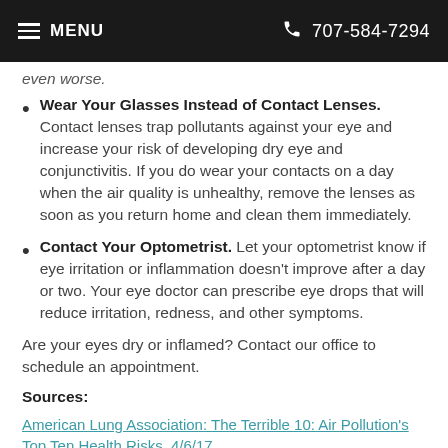MENU | 707-584-7294
even worse.
Wear Your Glasses Instead of Contact Lenses. Contact lenses trap pollutants against your eye and increase your risk of developing dry eye and conjunctivitis. If you do wear your contacts on a day when the air quality is unhealthy, remove the lenses as soon as you return home and clean them immediately.
Contact Your Optometrist. Let your optometrist know if eye irritation or inflammation doesn't improve after a day or two. Your eye doctor can prescribe eye drops that will reduce irritation, redness, and other symptoms.
Are your eyes dry or inflamed? Contact our office to schedule an appointment.
Sources:
American Lung Association: The Terrible 10: Air Pollution's Top Ten Health Risks, 4/6/17
American Optometric Association: Conjunctivitis